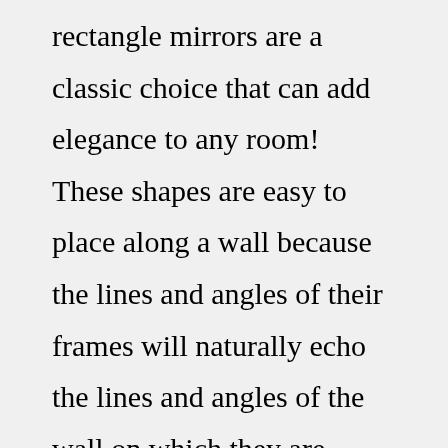rectangle mirrors are a classic choice that can add elegance to any room! These shapes are easy to place along a wall because the lines and angles of their frames will naturally echo the lines and angles of the wall on which they are placed, provided your room does not ... Jul 01, 2022 · Sale $263.20 - $615.20. Add To Cart. ♥ Add to Wishlist or Registry. Features. Specifications. More Details. Shipping Info. Inspired by a piece of sun-bleached coral,